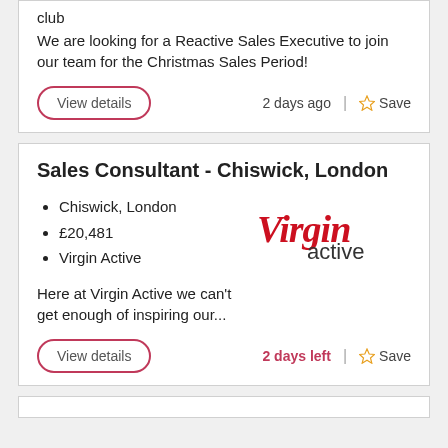club
We are looking for a Reactive Sales Executive to join our team for the Christmas Sales Period!
View details
2 days ago | Save
Sales Consultant - Chiswick, London
Chiswick, London
£20,481
Virgin Active
Here at Virgin Active we can't get enough of inspiring our...
[Figure (logo): Virgin Active logo in red cursive and black text]
View details
2 days left | Save